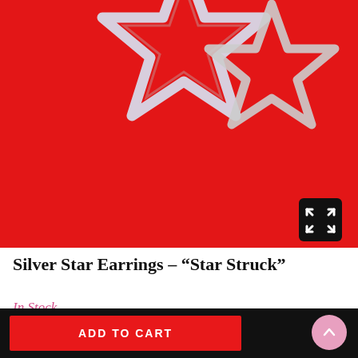[Figure (photo): Silver star-shaped earrings on a bright red background. Two overlapping star outlines made of silver/rhinestone material are visible against the vivid red surface. A black expand/fullscreen button is in the bottom-right corner of the image.]
Silver Star Earrings – “Star Struck”
In Stock
$25.00
ADD TO CART